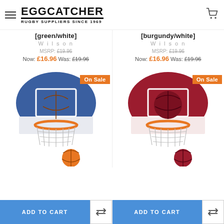EGGCATCHER RUGBY SUPPLIERS SINCE 1969
[green/white]
[burgundy/white]
Wilson
Wilson
MSRP: £19.96
MSRP: £19.96
Now: £16.96  Was: £19.96
Now: £16.96  Was: £19.96
On Sale
On Sale
[Figure (photo): Basketball mini hoop and backboard in blue/white with orange basketball, Knicks-themed design]
[Figure (photo): Basketball mini hoop and backboard in red/white with dark red basketball, Bulls-themed design]
ADD TO CART
ADD TO CART